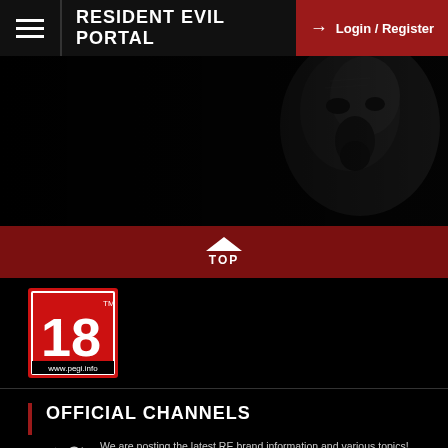RESIDENT EVIL PORTAL | Login / Register
[Figure (photo): Dark hero image showing a shadowy monster or creature face on the right side against a very dark black background]
[Figure (other): Red TOP button bar with upward caret chevron icon and text TOP]
[Figure (logo): PEGI 18 rating badge - red square with 18 in white, www.pegi.info text below]
OFFICIAL CHANNELS
We are posting the latest RE brand information and various topics!
Resident Evil official brand account
@REBHPortal